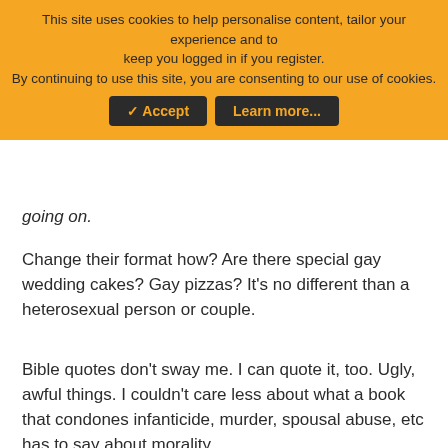[Figure (screenshot): Cookie consent banner with orange background, Accept and Learn more buttons]
going on.
Change their format how? Are there special gay wedding cakes? Gay pizzas? It's no different than a heterosexual person or couple.
Bible quotes don't sway me. I can quote it, too. Ugly, awful things. I couldn't care less about what a book that condones infanticide, murder, spousal abuse, etc has to say about morality.